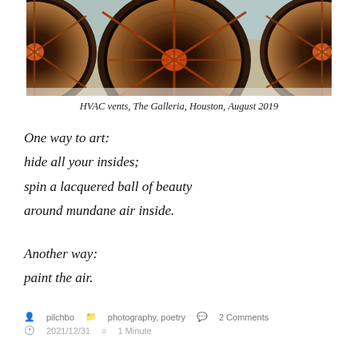[Figure (photo): Close-up photograph of three large circular HVAC vents viewed from below, showing metallic dark rings with orange/red center markings and spoke-like internal structures, against a blue-tinted background.]
HVAC vents, The Galleria, Houston, August 2019
One way to art:
hide all your insides;
spin a lacquered ball of beauty
around mundane air inside.
Another way:
paint the air.
pilchbo   photography, poetry   2 Comments   2021/12/31   1 Minute